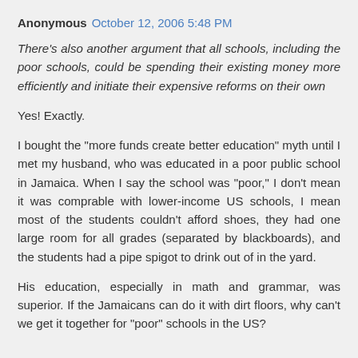Anonymous October 12, 2006 5:48 PM
There's also another argument that all schools, including the poor schools, could be spending their existing money more efficiently and initiate their expensive reforms on their own
Yes! Exactly.
I bought the "more funds create better education" myth until I met my husband, who was educated in a poor public school in Jamaica. When I say the school was "poor," I don't mean it was comprable with lower-income US schools, I mean most of the students couldn't afford shoes, they had one large room for all grades (separated by blackboards), and the students had a pipe spigot to drink out of in the yard.
His education, especially in math and grammar, was superior. If the Jamaicans can do it with dirt floors, why can't we get it together for "poor" schools in the US?